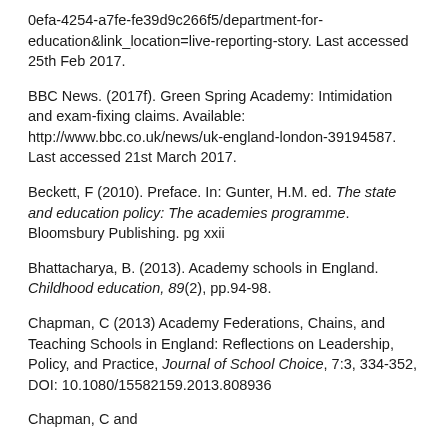0efa-4254-a7fe-fe39d9c266f5/department-for-education&link_location=live-reporting-story. Last accessed 25th Feb 2017.
BBC News. (2017f). Green Spring Academy: Intimidation and exam-fixing claims. Available: http://www.bbc.co.uk/news/uk-england-london-39194587. Last accessed 21st March 2017.
Beckett, F (2010). Preface. In: Gunter, H.M. ed. The state and education policy: The academies programme. Bloomsbury Publishing. pg xxii
Bhattacharya, B. (2013). Academy schools in England. Childhood education, 89(2), pp.94-98.
Chapman, C (2013) Academy Federations, Chains, and Teaching Schools in England: Reflections on Leadership, Policy, and Practice, Journal of School Choice, 7:3, 334-352, DOI: 10.1080/15582159.2013.808936
Chapman, C and...